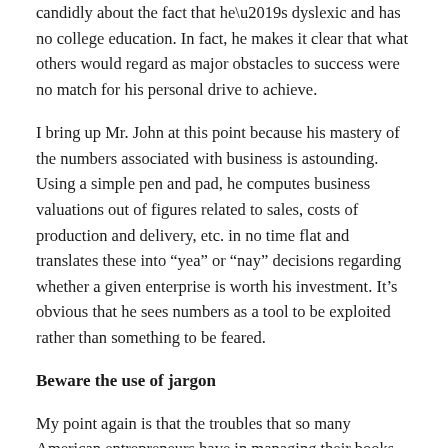candidly about the fact that he's dyslexic and has no college education. In fact, he makes it clear that what others would regard as major obstacles to success were no match for his personal drive to achieve.
I bring up Mr. John at this point because his mastery of the numbers associated with business is astounding. Using a simple pen and pad, he computes business valuations out of figures related to sales, costs of production and delivery, etc. in no time flat and translates these into “yea” or “nay” decisions regarding whether a given enterprise is worth his investment. It’s obvious that he sees numbers as a tool to be exploited rather than something to be feared.
Beware the use of jargon
My point again is that the troubles that so many American entrepreneurs have in managing their books are the results of some unfortunate wrinkles in our culture that have allied math